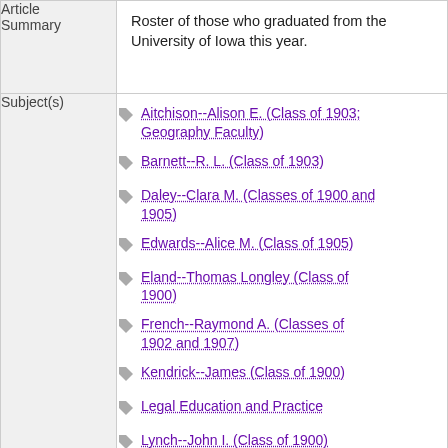| Article Summary | Content |
| --- | --- |
| Article Summary | Roster of those who graduated from the University of Iowa this year. |
| Subject(s) | Aitchison--Alison E. (Class of 1903; Geography Faculty)
Barnett--R. L. (Class of 1903)
Daley--Clara M. (Classes of 1900 and 1905)
Edwards--Alice M. (Class of 1905)
Eland--Thomas Longley (Class of 1900)
French--Raymond A. (Classes of 1902 and 1907)
Kendrick--James (Class of 1900)
Legal Education and Practice
Lynch--John I. (Class of 1900)
Medical Education and Practice
Mitchell--Walter S. (Class of 1901)
Streff--John N. (Class of 1904)
University of Iowa... |